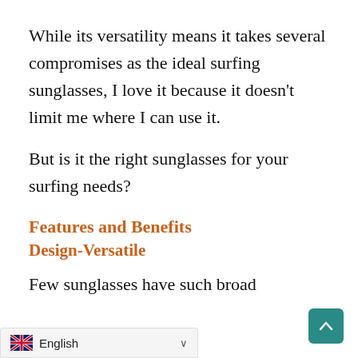While its versatility means it takes several compromises as the ideal surfing sunglasses, I love it because it doesn't limit me where I can use it.
But is it the right sunglasses for your surfing needs?
Features and Benefits
Design-Versatile
Few sunglasses have such broad